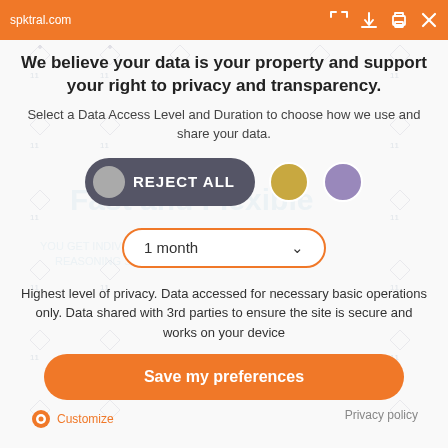spktral.com
We believe your data is your property and support your right to privacy and transparency.
Select a Data Access Level and Duration to choose how we use and share your data.
[Figure (infographic): Three option buttons: 'REJECT ALL' button (dark gray pill with gray circle), gold circle option, purple circle option. Below is a dropdown selector showing '1 month' with orange border and chevron.]
Highest level of privacy. Data accessed for necessary basic operations only. Data shared with 3rd parties to ensure the site is secure and works on your device
Save my preferences
Customize
Privacy policy